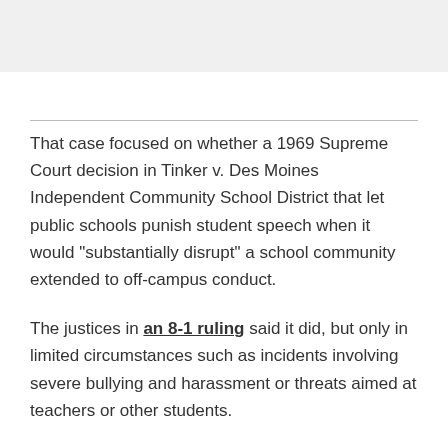That case focused on whether a 1969 Supreme Court decision in Tinker v. Des Moines Independent Community School District that let public schools punish student speech when it would "substantially disrupt" a school community extended to off-campus conduct.
The justices in an 8-1 ruling said it did, but only in limited circumstances such as incidents involving severe bullying and harassment or threats aimed at teachers or other students.